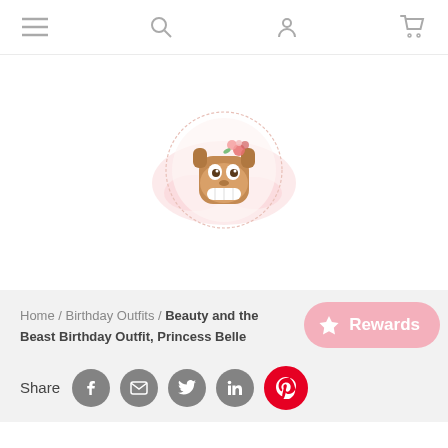Navigation bar with menu, search, account, and cart icons
[Figure (logo): Circular shop logo featuring a cartoon character resembling a smiling brown creature (Beast-like) with flowers, surrounded by a decorative pink circle with text, on a light pink watercolor background]
Home / Birthday Outfits / Beauty and the Beast Birthday Outfit, Princess Belle
Rewards
Share